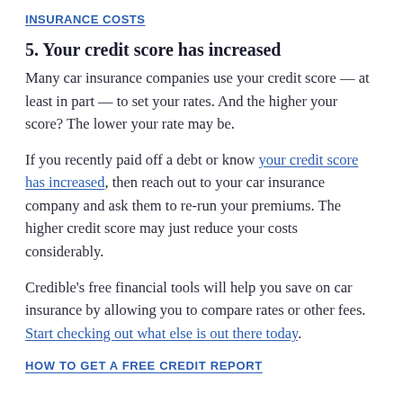INSURANCE COSTS
5. Your credit score has increased
Many car insurance companies use your credit score — at least in part — to set your rates. And the higher your score? The lower your rate may be.
If you recently paid off a debt or know your credit score has increased, then reach out to your car insurance company and ask them to re-run your premiums. The higher credit score may just reduce your costs considerably.
Credible's free financial tools will help you save on car insurance by allowing you to compare rates or other fees. Start checking out what else is out there today.
HOW TO GET A FREE CREDIT REPORT